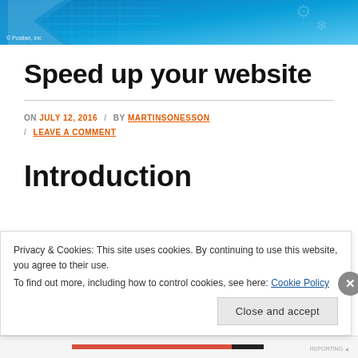[Figure (illustration): Blue gradient banner header with geometric shapes and grid lines. Copyright text: © Postian, Inc]
© Postian, Inc
Speed up your website
ON JULY 12, 2016 / BY MARTINSONESSON / LEAVE A COMMENT
Introduction
Privacy & Cookies: This site uses cookies. By continuing to use this website, you agree to their use.
To find out more, including how to control cookies, see here: Cookie Policy
Close and accept